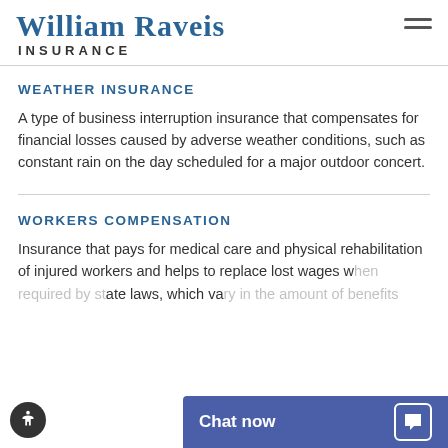WILLIAM RAVEIS INSURANCE
WEATHER INSURANCE
A type of business interruption insurance that compensates for financial losses caused by adverse weather conditions, such as constant rain on the day scheduled for a major outdoor concert.
WORKERS COMPENSATION
Insurance that pays for medical care and physical rehabilitation of injured workers and helps to replace lost wages w[hen required by] ate laws, which va[ry in the] mount of benefits [provided].